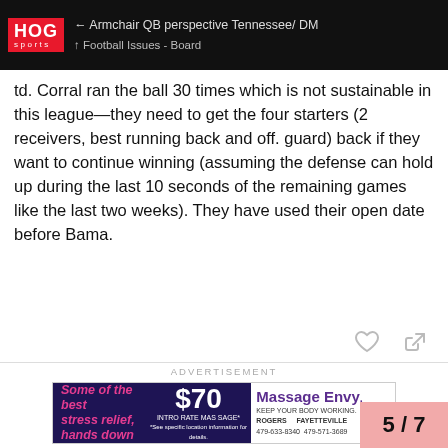HOG sports — Armchair QB perspective Tennessee/ DM · Football Issues - Board
td. Corral ran the ball 30 times which is not sustainable in this league—they need to get the four starters (2 receivers, best running back and off. guard) back if they want to continue winning (assuming the defense can hold up during the last 10 seconds of the remaining games like the last two weeks). They have used their open date before Bama.
[Figure (other): Advertisement banner for Massage Envy: 'Some of the best stress relief, hands down' $70 Intro Rate Massage, ROGERS 479-633-8340, FAYETTEVILLE 479-571-3689]
LarryCTN   Oct '21
Around Knoxville, he is known as "Overthr... a reason he left Michigan to come to UT th... the start, the first 3 or so, this is... Pa...